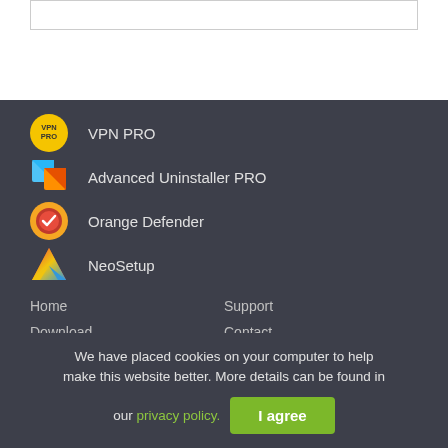[Figure (screenshot): Partial input/search box at the top of a webpage]
VPN PRO
Advanced Uninstaller PRO
Orange Defender
NeoSetup
Home
Support
Download
Contact
We have placed cookies on your computer to help make this website better. More details can be found in our privacy policy.
I agree